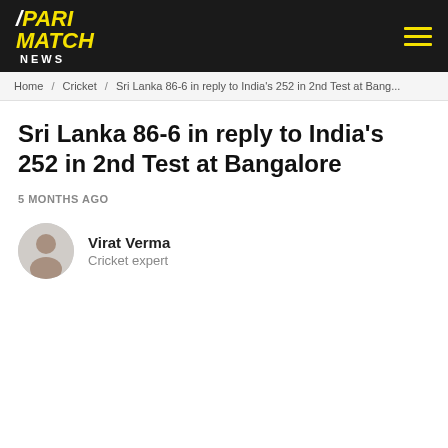PARIMATCH NEWS
Home / Cricket / Sri Lanka 86-6 in reply to India's 252 in 2nd Test at Bang...
Sri Lanka 86-6 in reply to India's 252 in 2nd Test at Bangalore
5 MONTHS AGO
Virat Verma
Cricket expert